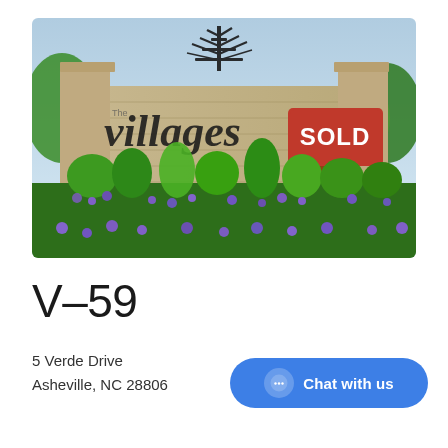[Figure (photo): Entrance sign for 'The Villages' community, a stone wall sign with decorative metal tree on top and large metal lettering spelling 'villages', with a red SOLD sign on a post in front, surrounded by colorful flowers and green landscaping.]
V-59
5 Verde Drive
Asheville, NC 28806